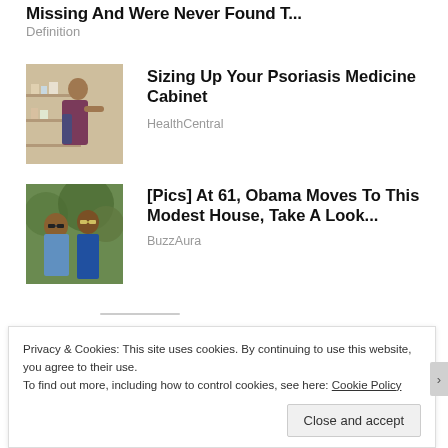Missing And Were Never Found T...
Definition
[Figure (photo): Woman browsing products in a store aisle]
Sizing Up Your Psoriasis Medicine Cabinet
HealthCentral
[Figure (photo): Two people wearing sunglasses outdoors with greenery behind them]
[Pics] At 61, Obama Moves To This Modest House, Take A Look...
BuzzAura
Privacy & Cookies: This site uses cookies. By continuing to use this website, you agree to their use.
To find out more, including how to control cookies, see here: Cookie Policy
Close and accept